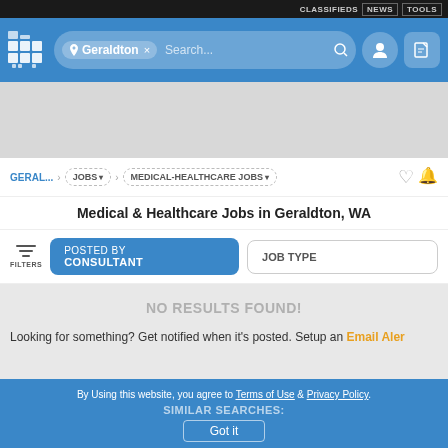CLASSIFIEDS | NEWS | TOOLS
[Figure (screenshot): Blue app header with logo, location pill showing 'Geraldton x', search bar, user icon, and edit icon]
[Figure (screenshot): Grey advertisement banner space]
GERAL... » JOBS » MEDICAL-HEALTHCARE JOBS »
Medical & Healthcare Jobs in Geraldton, WA
FILTERS | POSTED BY CONSULTANT | JOB TYPE
NO RESULTS FOUND!
Looking for something? Get notified when it's posted. Setup an Email Alert
By Using this website, you agree to Terms of Use & Privacy Policy. SIMILAR SEARCHES: Got it